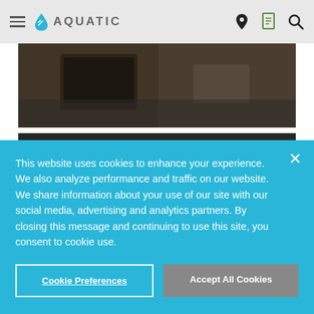AQUATIC — navigation bar with hamburger menu, logo, location, document, and search icons
[Figure (photo): Dark overhead photo showing a laptop and desk workspace]
[Figure (photo): Partial second photo partially hidden behind cookie banner]
This website uses cookies to enhance your experience. We also analyze performance and traffic on our website. We share information about your use of our site with our social media, advertising and analytics partners. By closing this message and continuing to use this site, you consent to cookie use.
Cookie Preferences
Accept All Cookies